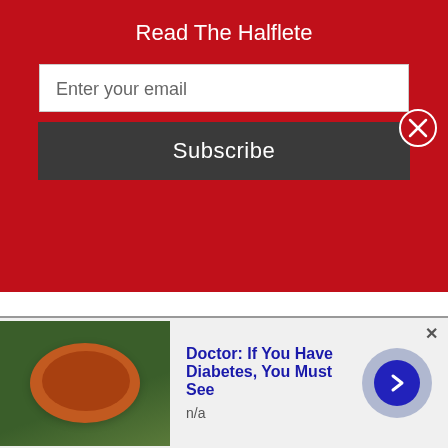Read The Halflete
Enter your email
Subscribe
February 2023 · August 2022
March 2023 · September 2022
April 2023 · October 2022
May 2023 · November 2022
June 2022 · December 2022
Doctor: If You Have Diabetes, You Must See
n/a